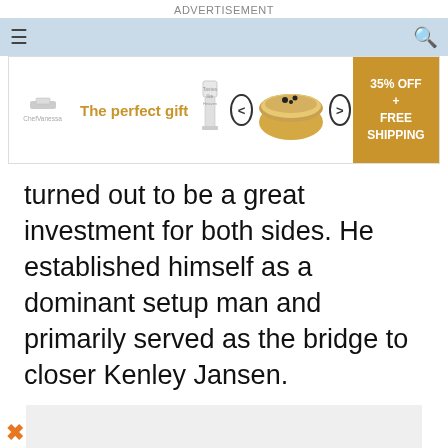ADVERTISEMENT
[Figure (screenshot): Navigation bar with hamburger menu icon on left, search icon on right, light blue background]
[Figure (screenshot): Advertisement banner: 'The perfect gift' with bowl of food imagery, arrows, and '35% OFF + FREE SHIPPING' gold CTA button]
turned out to be a great investment for both sides. He established himself as a dominant setup man and primarily served as the bridge to closer Kenley Jansen.
[Figure (screenshot): Gray advertisement placeholder box]
[Figure (screenshot): Bottom advertisement banner: 'The perfect gift' with bowl of food imagery, arrows, and '35% OFF + FREE SHIPPING' gold CTA button]